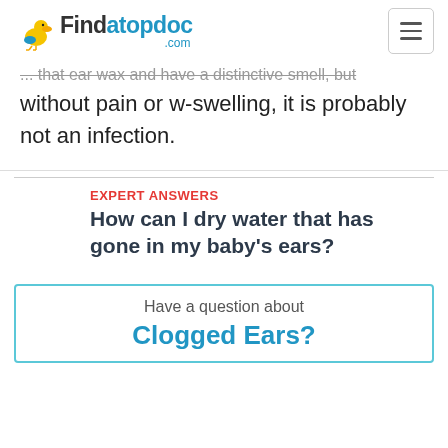Findatopdoc.com
...that ear wax and have a distinctive smell, but without pain or w-swelling, it is probably not an infection.
EXPERT ANSWERS
How can I dry water that has gone in my baby's ears?
Have a question about
Clogged Ears?